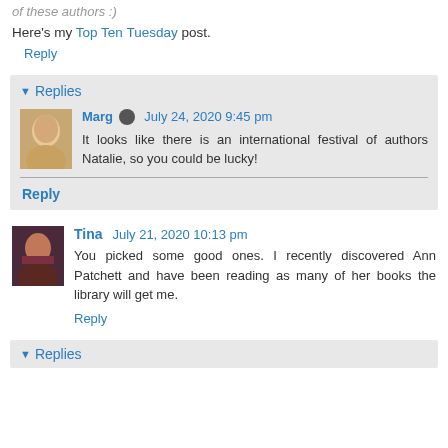of these authors :)
Here's my Top Ten Tuesday post.
Reply
▼ Replies
Marg  July 24, 2020 9:45 pm
It looks like there is an international festival of authors Natalie, so you could be lucky!
Reply
Tina  July 21, 2020 10:13 pm
You picked some good ones. I recently discovered Ann Patchett and have been reading as many of her books the library will get me.
Reply
▼ Replies